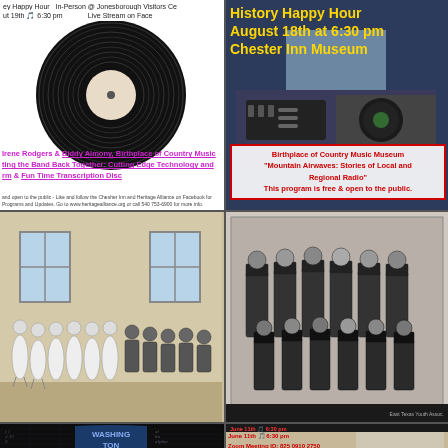[Figure (photo): Event poster showing a vinyl record on white background with event text: 'History Happy Hour, In-Person @ Jonesborough Visitors Center, August 19th at 6:30 pm, Live Stream on Facebook'. Pink/magenta text below mentions Irene Rodgers & Biddy Almony, Birthplace of Country Music, 'Getting the Band Back Together: Cutting Edge Technology and Fun Time Transcription Disc'. Small text at bottom with details.]
[Figure (photo): History Happy Hour event poster. Yellow bold title: 'History Happy Hour August 18th at 6:30 pm Chester Inn Museum'. Background shows radio broadcasting equipment. Red-bordered white overlay text: 'Birthplace of Country Music Museum "Mountain Airwaves: Stories of Local and Regional Radio" This program is free & open to the public.']
[Figure (illustration): Historical illustration/engraving of a line dance or group dance scene with women in white dresses and men in dark clothing, set in an interior room with large windows.]
[Figure (photo): Black and white graduation photograph showing approximately 12 people in caps and gowns, arranged in two rows in a formal portrait.]
[Figure (photo): Dark image showing a blue stone or metal marker/tombstone reading 'WASHINGTON' with handwritten ledger pages in the background.]
[Figure (photo): Partial event card/poster with text: 'June 11th at 6:30 pm, Zoom Meeting ID: 825 0910 2750, Facebook Live Chester Inn'. Shows a woman standing by a white kitchen stove with a turkey.]